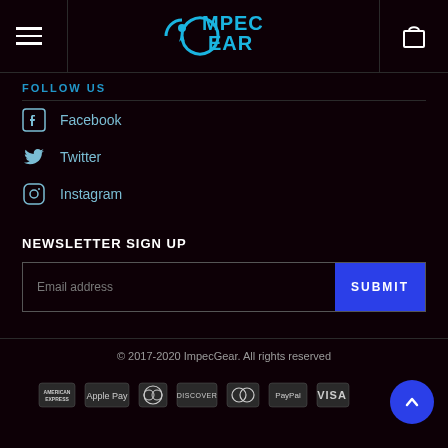ImpecGear — navigation header with logo, hamburger menu, and cart icon
FOLLOW US
Facebook
Twitter
Instagram
NEWSLETTER SIGN UP
Email address / SUBMIT
© 2017-2020 ImpecGear. All rights reserved
[Figure (other): Payment method icons: American Express, Apple Pay, Diners Club, Discover, Mastercard, PayPal, Visa]